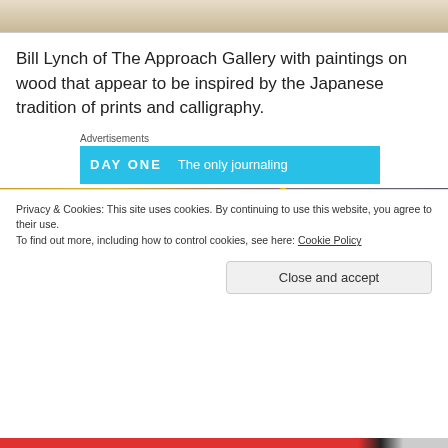[Figure (photo): Top portion of an image showing wooden panel or frame in light brown tones, partially cropped at top]
Bill Lynch of The Approach Gallery with paintings on wood that appear to be inspired by the Japanese tradition of prints and calligraphy.
Advertisements
[Figure (photo): Advertisement banner with blue background, showing 'DAY ONE' logo on the left and 'The only journaling' text on the right]
[Figure (photo): Photograph of a bird (appears to be a pigeon or similar) surrounded by scattered yellow postage stamps or small papers on a brown surface]
Privacy & Cookies: This site uses cookies. By continuing to use this website, you agree to their use.
To find out more, including how to control cookies, see here: Cookie Policy
Close and accept